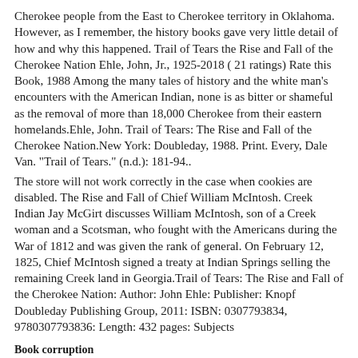Cherokee people from the East to Cherokee territory in Oklahoma. However, as I remember, the history books gave very little detail of how and why this happened. Trail of Tears the Rise and Fall of the Cherokee Nation Ehle, John, Jr., 1925-2018 ( 21 ratings) Rate this Book, 1988 Among the many tales of history and the white man's encounters with the American Indian, none is as bitter or shameful as the removal of more than 18,000 Cherokee from their eastern homelands.Ehle, John. Trail of Tears: The Rise and Fall of the Cherokee Nation.New York: Doubleday, 1988. Print. Every, Dale Van. "Trail of Tears." (n.d.): 181-94..
The store will not work correctly in the case when cookies are disabled. The Rise and Fall of Chief William McIntosh. Creek Indian Jay McGirt discusses William McIntosh, son of a Creek woman and a Scotsman, who fought with the Americans during the War of 1812 and was given the rank of general. On February 12, 1825, Chief McIntosh signed a treaty at Indian Springs selling the remaining Creek land in Georgia.Trail of Tears: The Rise and Fall of the Cherokee Nation: Author: John Ehle: Publisher: Knopf Doubleday Publishing Group, 2011: ISBN: 0307793834, 9780307793836: Length: 432 pages: Subjects
Book corruption
The hidden place book Hawaii book
Random crafts to do Bible reina valera 1960 en espanol